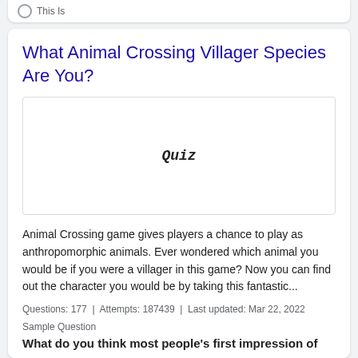This Is
What Animal Crossing Villager Species Are You?
[Figure (other): Quiz placeholder image with the text 'Quiz' in the center]
Animal Crossing game gives players a chance to play as anthropomorphic animals. Ever wondered which animal you would be if you were a villager in this game? Now you can find out the character you would be by taking this fantastic...
Questions: 177  |  Attempts: 187439  |  Last updated: Mar 22, 2022
Sample Question
What do you think most people's first impression of